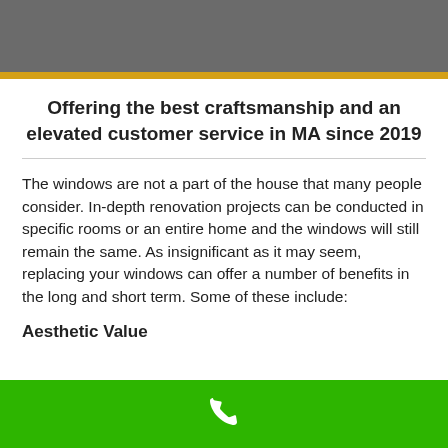Offering the best craftsmanship and an elevated customer service in MA since 2019
The windows are not a part of the house that many people consider. In-depth renovation projects can be conducted in specific rooms or an entire home and the windows will still remain the same. As insignificant as it may seem, replacing your windows can offer a number of benefits in the long and short term. Some of these include:
Aesthetic Value